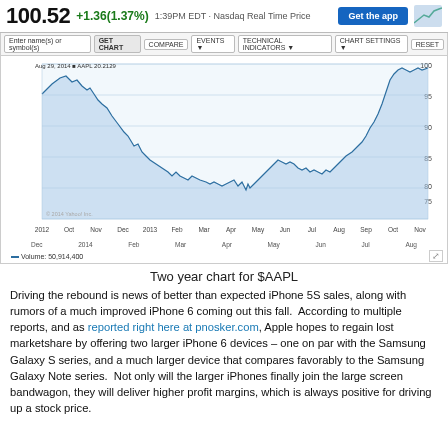100.52 +1.36(1.37%) 1:39PM EDT · Nasdaq Real Time Price  Get the app
[Figure (continuous-plot): Two-year line chart for AAPL stock price from 2012 to Aug 2014. Price starts around 95, drops to ~55 mid-period, then recovers strongly to ~100. X-axis shows months from 2012 through Aug 2014. Y-axis shows price range from 60 to 100.]
Two year chart for $AAPL
Driving the rebound is news of better than expected iPhone 5S sales, along with rumors of a much improved iPhone 6 coming out this fall. According to multiple reports, and as reported right here at pnosker.com, Apple hopes to regain lost marketshare by offering two larger iPhone 6 devices – one on par with the Samsung Galaxy S series, and a much larger device that compares favorably to the Samsung Galaxy Note series. Not only will the larger iPhones finally join the large screen bandwagon, they will deliver higher profit margins, which is always positive for driving up a stock price.